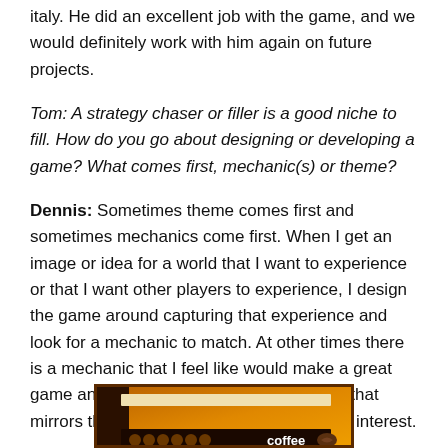italy. He did an excellent job with the game, and we would definitely work with him again on future projects.
Tom: A strategy chaser or filler is a good niche to fill. How do you go about designing or developing a game? What comes first, mechanic(s) or theme?
Dennis: Sometimes theme comes first and sometimes mechanics come first. When I get an image or idea for a world that I want to experience or that I want other players to experience, I design the game around capturing that experience and look for a mechanic to match. At other times there is a mechanic that I feel like would make a great game and then the trick is finding a theme that mirrors the mechanics, and also generates interest.
[Figure (photo): Partial view of a board game box with orange and brown design, the word 'coffee' visible with coffee bean graphic and circular tokens]